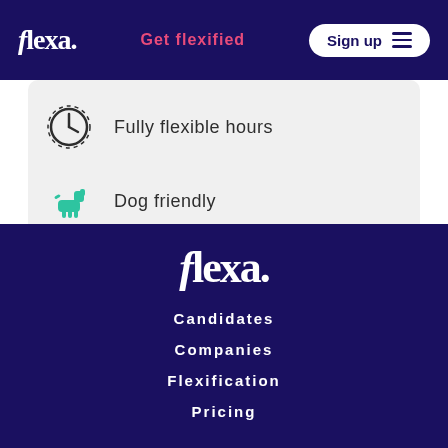flexa. | Get flexified | Sign up
Fully flexible hours
Dog friendly
[Figure (logo): flexa. logo in white on dark navy background in footer]
Candidates
Companies
Flexification
Pricing